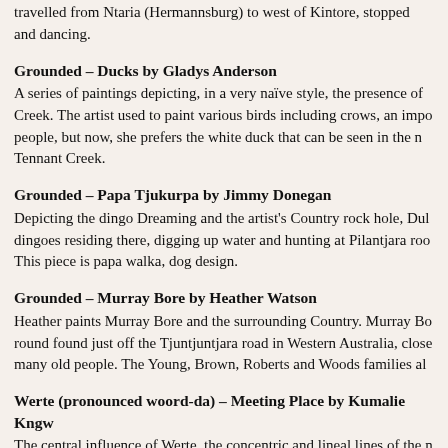travelled from Ntaria (Hermannsburg) to west of Kintore, stopped and dancing.
Grounded – Ducks by Gladys Anderson
A series of paintings depicting, in a very naïve style, the presence of Creek. The artist used to paint various birds including crows, an impo people, but now, she prefers the white duck that can be seen in the n Tennant Creek.
Grounded – Papa Tjukurpa by Jimmy Donegan
Depicting the dingo Dreaming and the artist's Country rock hole, Dul dingoes residing there, digging up water and hunting at Pilantjara roo This piece is papa walka, dog design.
Grounded – Murray Bore by Heather Watson
Heather paints Murray Bore and the surrounding Country. Murray Bo round found just off the Tjuntjuntjara road in Western Australia, close many old people. The Young, Brown, Roberts and Woods families al
Werte (pronounced woord-da) – Meeting Place by Kumalie Kngw
The central influence of Werte, the concentric and lineal lines of the n art styles, are explored through the groundwork and layout of the sig